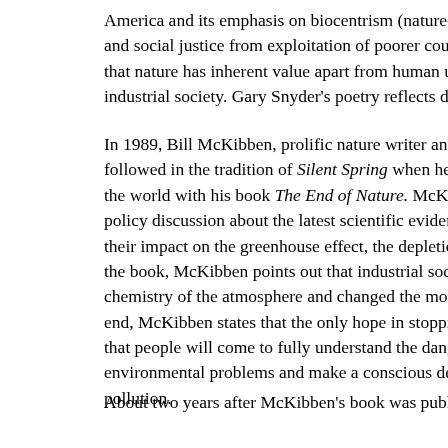America and its emphasis on biocentrism (nature-centered, not and social justice from exploitation of poorer countries by afflu that nature has inherent value apart from human use. It traces th industrial society. Gary Snyder's poetry reflects deep ecology th
In 1989, Bill McKibben, prolific nature writer and environment followed in the tradition of Silent Spring when he changed the p the world with his book The End of Nature. McKibben brought policy discussion about the latest scientific evidence concerning their impact on the greenhouse effect, the depletion of the ozon the book, McKibben points out that industrial society with all o chemistry of the atmosphere and changed the most elemental pr end, McKibben states that the only hope in stopping pollution a that people will come to fully understand the dangers caused by environmental problems and make a conscious decision to live pollution.
About two years after McKibben's book was published, Earth i